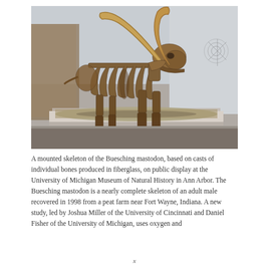[Figure (photo): A mounted skeleton of the Buesching mastodon displayed on a sandy platform in a museum setting. The skeleton has large curved tusks and is shown in a walking pose. The background shows museum walls and floor.]
A mounted skeleton of the Buesching mastodon, based on casts of individual bones produced in fiberglass, on public display at the University of Michigan Museum of Natural History in Ann Arbor. The Buesching mastodon is a nearly complete skeleton of an adult male recovered in 1998 from a peat farm near Fort Wayne, Indiana. A new study, led by Joshua Miller of the University of Cincinnati and Daniel Fisher of the University of Michigan, uses oxygen and
x